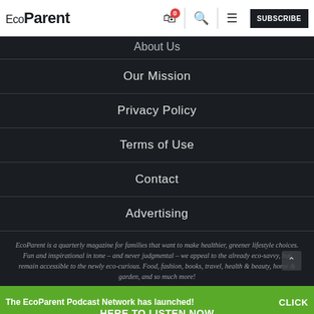EcoParent — SUBSCRIBE
About Us
Our Mission
Privacy Policy
Terms of Use
Contact
Advertising
EcoParent is a quarterly magazine for families that want to make healthier, greener lifestyle choices. Fun and inspirational in tone – and never judgmental – we appeal to the already eco-savvy, but remain accessible to the newly eco-curious. Food, fashion, books, travel, health & beauty, home & garden, and so much more!
The EcoParent Podcast Network has launched! CLICK HERE TO LISTEN NOW